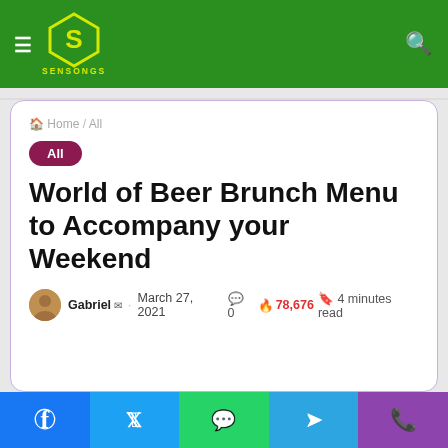SENSONGS
Home / All
All
World of Beer Brunch Menu to Accompany your Weekend
Gabriel · March 27, 2021  0  78,676  4 minutes read